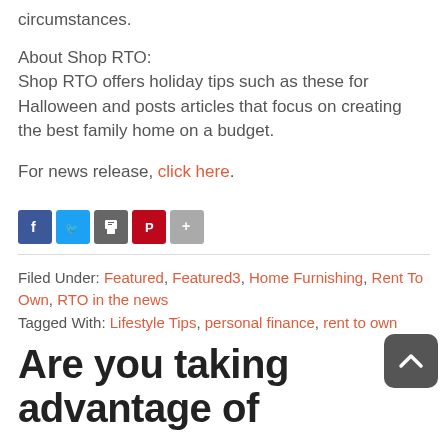circumstances.
About Shop RTO:
Shop RTO offers holiday tips such as these for Halloween and posts articles that focus on creating the best family home on a budget.
For news release, click here.
[Figure (other): Social sharing buttons: Facebook (blue), Twitter (blue), Print (gray), Pinterest (red), More (gray)]
Filed Under: Featured, Featured3, Home Furnishing, Rent To Own, RTO in the news
Tagged With: Lifestyle Tips, personal finance, rent to own
Are you taking advantage of